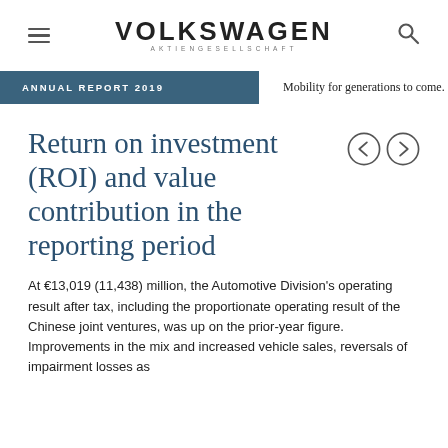VOLKSWAGEN AKTIENGESELLSCHAFT
ANNUAL REPORT 2019
Mobility for generations to come.
Return on investment (ROI) and value contribution in the reporting period
At €13,019 (11,438) million, the Automotive Division's operating result after tax, including the proportionate operating result of the Chinese joint ventures, was up on the prior-year figure. Improvements in the mix and increased vehicle sales, reversals of impairment losses as